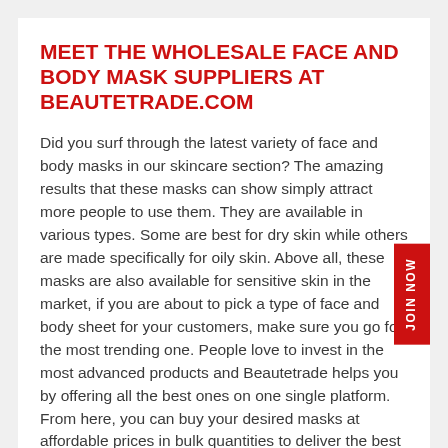MEET THE WHOLESALE FACE AND BODY MASK SUPPLIERS AT BEAUTETRADE.COM
Did you surf through the latest variety of face and body masks in our skincare section? The amazing results that these masks can show simply attract more people to use them. They are available in various types. Some are best for dry skin while others are made specifically for oily skin. Above all, these masks are also available for sensitive skin in the market, if you are about to pick a type of face and body sheet for your customers, make sure you go for the most trending one. People love to invest in the most advanced products and Beautetrade helps you by offering all the best ones on one single platform. From here, you can buy your desired masks at affordable prices in bulk quantities to deliver the best items to your customers ahead. The prices of all the wholesale products we have here are low and quite economical